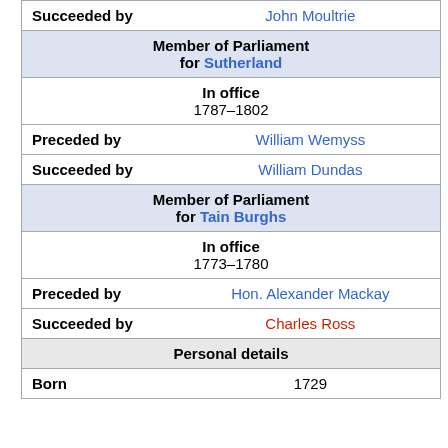| Succeeded by | John Moultrie |
| Member of Parliament for Sutherland |  |
| In office | 1787–1802 |
| Preceded by | William Wemyss |
| Succeeded by | William Dundas |
| Member of Parliament for Tain Burghs |  |
| In office | 1773–1780 |
| Preceded by | Hon. Alexander Mackay |
| Succeeded by | Charles Ross |
| Personal details |  |
| Born | 1729 |